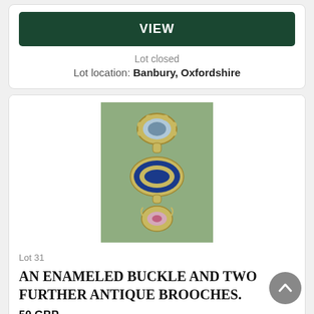VIEW
Lot closed
Lot location: Banbury, Oxfordshire
[Figure (photo): A hanging antique jewelry piece consisting of three connected brooches/buckles: a cameo-style brooch at top, a blue enamel oval buckle in the middle with gold trim, and a gold brooch with pink gemstone at the bottom, photographed against a green fabric background.]
Lot 31
AN ENAMELED BUCKLE AND TWO FURTHER ANTIQUE BROOCHES.
50 GBP
Closing bid